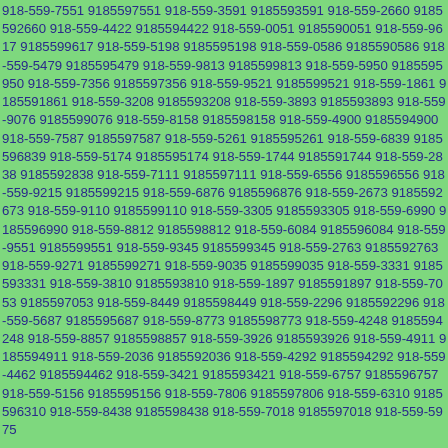918-559-7551 9185597551 918-559-3591 9185593591 918-559-2660 9185592660 918-559-4422 9185594422 918-559-0051 9185590051 918-559-9617 9185599617 918-559-5198 9185595198 918-559-0586 9185590586 918-559-5479 9185595479 918-559-9813 9185599813 918-559-5950 9185595950 918-559-7356 9185597356 918-559-9521 9185599521 918-559-1861 9185591861 918-559-3208 9185593208 918-559-3893 9185593893 918-559-9076 9185599076 918-559-8158 9185598158 918-559-4900 9185594900 918-559-7587 9185597587 918-559-5261 9185595261 918-559-6839 9185596839 918-559-5174 9185595174 918-559-1744 9185591744 918-559-2838 9185592838 918-559-7111 9185597111 918-559-6556 9185596556 918-559-9215 9185599215 918-559-6876 9185596876 918-559-2673 9185592673 918-559-9110 9185599110 918-559-3305 9185593305 918-559-6990 9185596990 918-559-8812 9185598812 918-559-6084 9185596084 918-559-9551 9185599551 918-559-9345 9185599345 918-559-2763 9185592763 918-559-9271 9185599271 918-559-9035 9185599035 918-559-3331 9185593331 918-559-3810 9185593810 918-559-1897 9185591897 918-559-7053 9185597053 918-559-8449 9185598449 918-559-2296 9185592296 918-559-5687 9185595687 918-559-8773 9185598773 918-559-4248 9185594248 918-559-8857 9185598857 918-559-3926 9185593926 918-559-4911 9185594911 918-559-2036 9185592036 918-559-4292 9185594292 918-559-4462 9185594462 918-559-3421 9185593421 918-559-6757 9185596757 918-559-5156 9185595156 918-559-7806 9185597806 918-559-6310 9185596310 918-559-8438 9185598438 918-559-7018 9185597018 918-559-5975